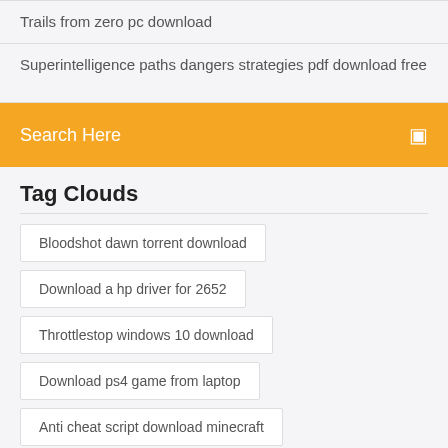Trails from zero pc download
Superintelligence paths dangers strategies pdf download free
Search Here
Tag Clouds
Bloodshot dawn torrent download
Download a hp driver for 2652
Throttlestop windows 10 download
Download ps4 game from laptop
Anti cheat script download minecraft